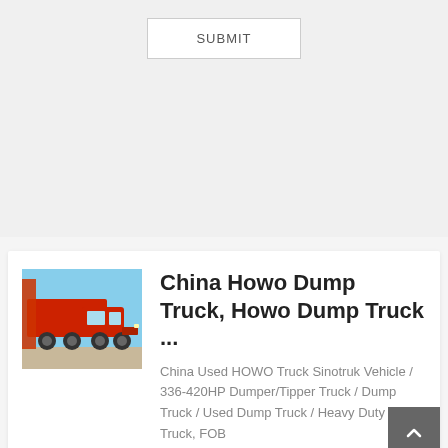[Figure (screenshot): SUBMIT button with border on light grey background]
[Figure (photo): Red Howo dump truck parked outdoors]
China Howo Dump Truck, Howo Dump Truck ...
China Used HOWO Truck Sinotruk Vehicle / 336-420HP Dumper/Tipper Truck / Dump Truck / Used Dump Truck / Heavy Duty Dump Truck, FOB